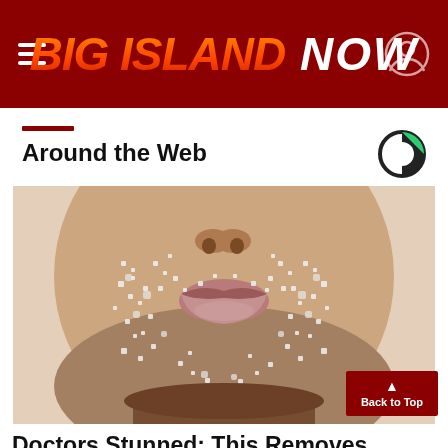BIG ISLAND NOW
Around the Web
[Figure (photo): Close-up photo of a person's face (lower half — nose, lips, chin) covered in sugar crystals or salt granules, against a light background]
Doctors Stunned: This Removes